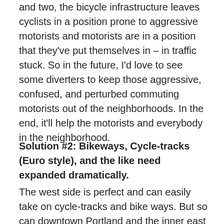and two, the bicycle infrastructure leaves cyclists in a position prone to aggressive motorists and motorists are in a position that they've put themselves in – in traffic stuck. So in the future, I'd love to see some diverters to keep those aggressive, confused, and perturbed commuting motorists out of the neighborhoods. In the end, it'll help the motorists and everybody in the neighborhood.
Solution #2: Bikeways, Cycle-tracks (Euro style), and the like need expanded dramatically.
The west side is perfect and can easily take on cycle-tracks and bike ways. But so can downtown Portland and the inner east side (re: river to about 20th should be easy to implement). So far though we've fallen